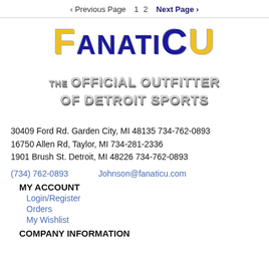< Previous Page   1   2   Next Page >
[Figure (logo): FanaticU logo — large stylized text 'FANATICU' in yellow and blue, with tagline 'THE OFFICIAL OUTFITTER OF DETROIT SPORTS' in silver/grey 3D block letters below]
30409 Ford Rd. Garden City, MI 48135 734-762-0893
16750 Allen Rd, Taylor, MI 734-281-2336
1901 Brush St. Detroit, MI 48226 734-762-0893
(734) 762-0893
Johnson@fanaticu.com
MY ACCOUNT
Login/Register
Orders
My Wishlist
COMPANY INFORMATION